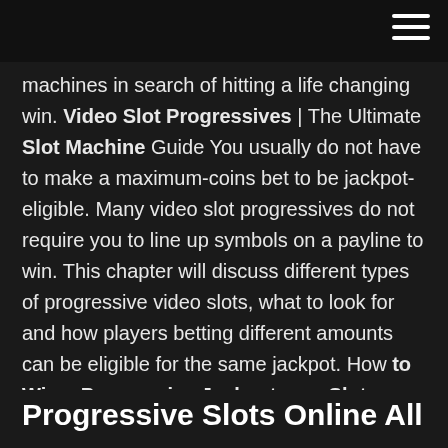machines in search of hitting a life changing win. Video Slot Progressives | The Ultimate Slot Machine Guide You usually do not have to make a maximum-coins bet to be jackpot-eligible. Many video slot progressives do not require you to line up symbols on a payline to win. This chapter will discuss different types of progressive video slots, what to look for and how players betting different amounts can be eligible for the same jackpot. How to Win a Progressive Jackpot on a Slot Machine ... In fact, we'll be discussing progressive slot machines in general, some strategies, and of course how to win a progressive jackpot on a slot machine. Progressive Slots. If you're not familiar with progressive slots, they're a group of slot machines that
Progressive Slots Online All